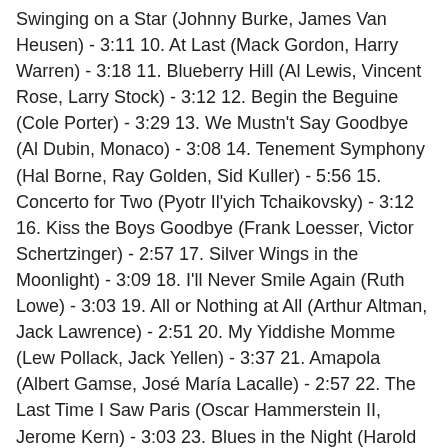Swinging on a Star (Johnny Burke, James Van Heusen) - 3:11 10. At Last (Mack Gordon, Harry Warren) - 3:18 11. Blueberry Hill (Al Lewis, Vincent Rose, Larry Stock) - 3:12 12. Begin the Beguine (Cole Porter) - 3:29 13. We Mustn't Say Goodbye (Al Dubin, Monaco) - 3:08 14. Tenement Symphony (Hal Borne, Ray Golden, Sid Kuller) - 5:56 15. Concerto for Two (Pyotr Il'yich Tchaikovsky) - 3:12 16. Kiss the Boys Goodbye (Frank Loesser, Victor Schertzinger) - 2:57 17. Silver Wings in the Moonlight) - 3:09 18. I'll Never Smile Again (Ruth Lowe) - 3:03 19. All or Nothing at All (Arthur Altman, Jack Lawrence) - 2:51 20. My Yiddishe Momme (Lew Pollack, Jack Yellen) - 3:37 21. Amapola (Albert Gamse, José María Lacalle) - 2:57 22. The Last Time I Saw Paris (Oscar Hammerstein II, Jerome Kern) - 3:03 23. Blues in the Night (Harold Arlen, Johnny Mercer) - 3:10 24. Where in the World (Ray Austin, Tony Martin) - 2:49